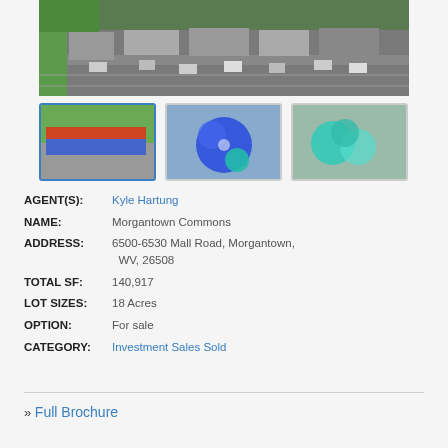[Figure (photo): Aerial view of Morgantown Commons shopping center with parking lot]
[Figure (photo): Thumbnail 1: Ground-level photo of Morgantown Commons storefront]
[Figure (photo): Thumbnail 2: Aerial map overlay with blue highlighted area]
[Figure (photo): Thumbnail 3: Aerial map with teal/cyan highlighted area]
AGENT(S): Kyle Hartung
NAME: Morgantown Commons
ADDRESS: 6500-6530 Mall Road, Morgantown, WV, 26508
TOTAL SF: 140,917
LOT SIZES: 18 Acres
OPTION: For sale
CATEGORY: Investment Sales Sold
» Full Brochure